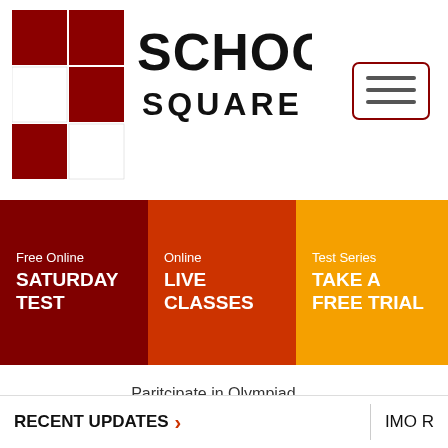[Figure (logo): School Square logo with red checkered squares and text SCHOOL SQUARE]
[Figure (other): Hamburger menu button with three horizontal lines inside a rounded rectangle border]
Free Online
SATURDAY TEST
Online
LIVE CLASSES
Test Series
TAKE A FREE TRIAL
Contact
Paritcipate in Olympiad Exam
RECENT UPDATES
IMO R